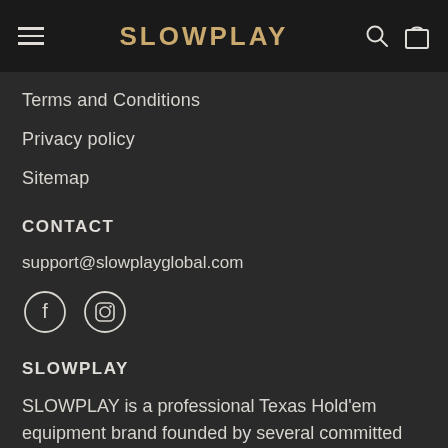SLOWPLAY
Terms and Conditions
Privacy policy
Sitemap
CONTACT
support@slowplayglobal.com
[Figure (other): Social media icons: Facebook (f) and Instagram circles]
SLOWPLAY
SLOWPLAY is a professional Texas Hold'em equipment brand founded by several committed players who love